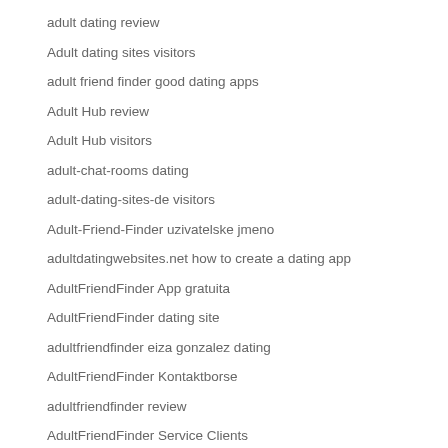adult dating review
Adult dating sites visitors
adult friend finder good dating apps
Adult Hub review
Adult Hub visitors
adult-chat-rooms dating
adult-dating-sites-de visitors
Adult-Friend-Finder uzivatelske jmeno
adultdatingwebsites.net how to create a dating app
AdultFriendFinder App gratuita
AdultFriendFinder dating site
adultfriendfinder eiza gonzalez dating
AdultFriendFinder Kontaktborse
adultfriendfinder review
AdultFriendFinder Service Clients